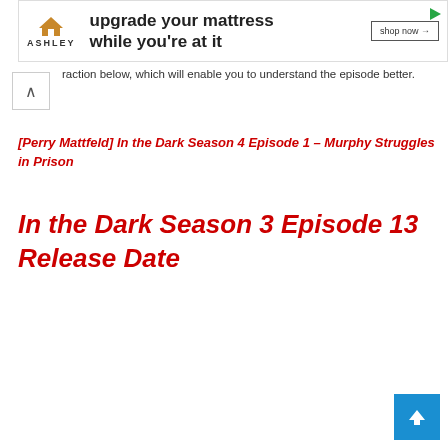[Figure (other): Ashley Furniture advertisement banner: house logo, 'ASHLEY' text, 'upgrade your mattress while you're at it', shop now button, play icon]
...raction below, which will enable you to understand the episode better.
[Perry Mattfeld] In the Dark Season 4 Episode 1 – Murphy Struggles in Prison
In the Dark Season 3 Episode 13 Release Date